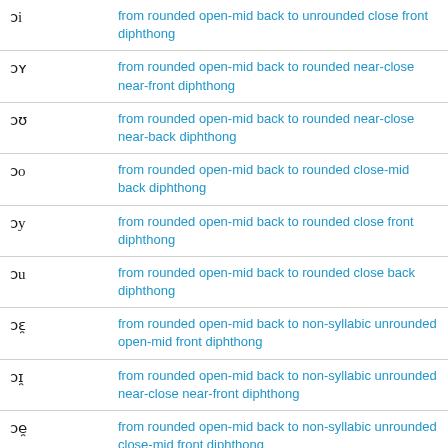| ɔi | from rounded open-mid back to unrounded close front diphthong |
| ɔʏ | from rounded open-mid back to rounded near-close near-front diphthong |
| ɔʊ | from rounded open-mid back to rounded near-close near-back diphthong |
| ɔo | from rounded open-mid back to rounded close-mid back diphthong |
| ɔy | from rounded open-mid back to rounded close front diphthong |
| ɔu | from rounded open-mid back to rounded close back diphthong |
| ɔɛ̯ | from rounded open-mid back to non-syllabic unrounded open-mid front diphthong |
| ɔɪ̯ | from rounded open-mid back to non-syllabic unrounded near-close near-front diphthong |
| ɔe̯ | from rounded open-mid back to non-syllabic unrounded close-mid front diphthong |